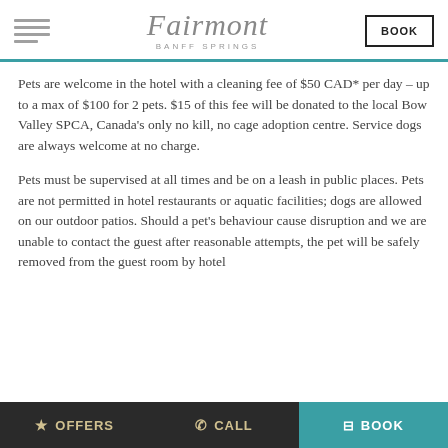Fairmont Banff Springs — BOOK
Pets are welcome in the hotel with a cleaning fee of $50 CAD* per day – up to a max of $100 for 2 pets. $15 of this fee will be donated to the local Bow Valley SPCA, Canada's only no kill, no cage adoption centre. Service dogs are always welcome at no charge.
Pets must be supervised at all times and be on a leash in public places. Pets are not permitted in hotel restaurants or aquatic facilities; dogs are allowed on our outdoor patios. Should a pet's behaviour cause disruption and we are unable to contact the guest after reasonable attempts, the pet will be safely removed from the guest room by hotel
OFFERS   CALL   BOOK